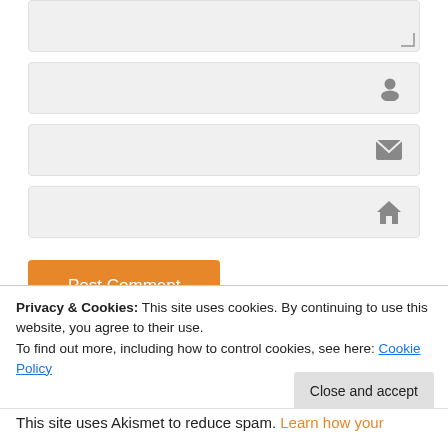[Figure (screenshot): Textarea input field with resize handle at bottom right]
[Figure (screenshot): Text input field with person/user icon on the right]
[Figure (screenshot): Text input field with email/envelope icon on the right]
[Figure (screenshot): Text input field with home/website icon on the right]
[Figure (screenshot): Orange Post Comment button]
Privacy & Cookies: This site uses cookies. By continuing to use this website, you agree to their use.
To find out more, including how to control cookies, see here: Cookie Policy
[Figure (screenshot): Close and accept button]
This site uses Akismet to reduce spam. Learn how your